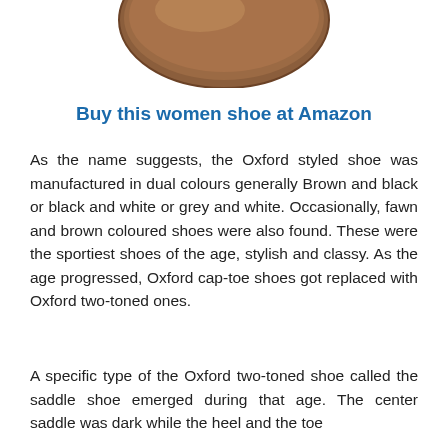[Figure (photo): Partial view of a brown leather Oxford shoe, showing the toe area against a white background.]
Buy this women shoe at Amazon
As the name suggests, the Oxford styled shoe was manufactured in dual colours generally Brown and black or black and white or grey and white. Occasionally, fawn and brown coloured shoes were also found. These were the sportiest shoes of the age, stylish and classy. As the age progressed, Oxford cap-toe shoes got replaced with Oxford two-toned ones.
A specific type of the Oxford two-toned shoe called the saddle shoe emerged during that age. The center saddle was dark while the heel and the toe